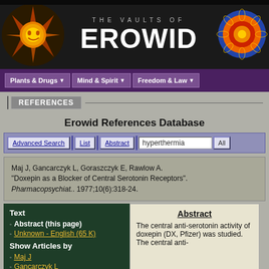[Figure (logo): The Vaults of Erowid website header with sun logo on left, mandala on right, site name in center on dark background]
Plants & Drugs | Mind & Spirit | Freedom & Law
REFERENCES
Erowid References Database
Advanced Search | List | Abstract | hyperthermia | All
Maj J, Gancarczyk L, Goraszczyk E, Rawlow A. "Doxepin as a Blocker of Central Serotonin Receptors". Pharmacopsychiat.. 1977;10(6):318-24.
Text
Abstract (this page)
Unknown - English (65 K)
Show Articles by
Maj J
Gancarczyk L
Goraszczyk E
Abstract
The central anti-serotonin activity of doxepin (DX, Pfizer) was studied. The central anti-